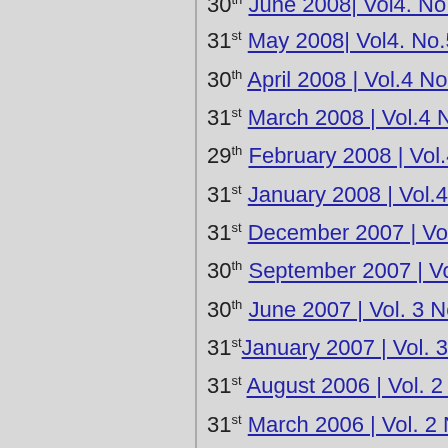30th June 2008| Vol4. No.6
31st May 2008| Vol4. No.5
30th April 2008 | Vol.4 No.4
31st March 2008 | Vol.4 No.3
29th February 2008 | Vol.4 No.2
31st January 2008 | Vol.4 No.1
31st December 2007 | Vol. 3 No.
30th September 2007 | Vol. 3 N
30th June 2007 | Vol. 3 No. 2
31st January 2007 | Vol. 3 No. 1
31st August 2006 | Vol. 2 No. 2
31st March 2006 | Vol. 2 No. 1